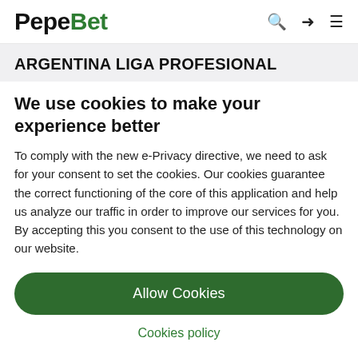PepeBet
ARGENTINA LIGA PROFESIONAL
We use cookies to make your experience better
To comply with the new e-Privacy directive, we need to ask for your consent to set the cookies. Our cookies guarantee the correct functioning of the core of this application and help us analyze our traffic in order to improve our services for you. By accepting this you consent to the use of this technology on our website.
Allow Cookies
Cookies policy